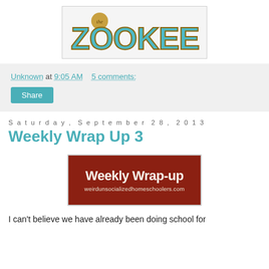[Figure (logo): The Zookeeper blog logo with teal/blue lettering on a light gray background, with a gold circle containing 'the']
Unknown at 9:05 AM   5 comments:
Share
Saturday, September 28, 2013
Weekly Wrap Up 3
[Figure (illustration): Weekly Wrap-up banner image with dark red/brown background, white text reading 'Weekly Wrap-up' and 'weirdunsocializedhomeschoolers.com']
I can't believe we have already been doing school for